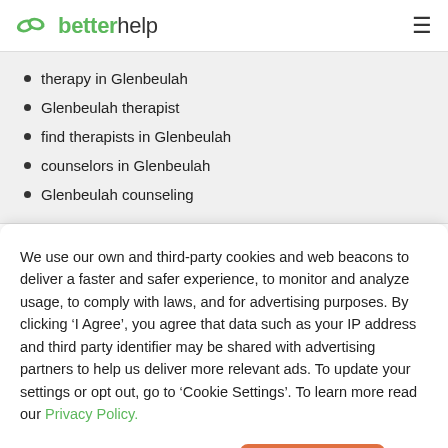betterhelp
therapy in Glenbeulah
Glenbeulah therapist
find therapists in Glenbeulah
counselors in Glenbeulah
Glenbeulah counseling
We use our own and third-party cookies and web beacons to deliver a faster and safer experience, to monitor and analyze usage, to comply with laws, and for advertising purposes. By clicking ‘I Agree’, you agree that data such as your IP address and third party identifier may be shared with advertising partners to help us deliver more relevant ads. To update your settings or opt out, go to ‘Cookie Settings’. To learn more read our Privacy Policy.